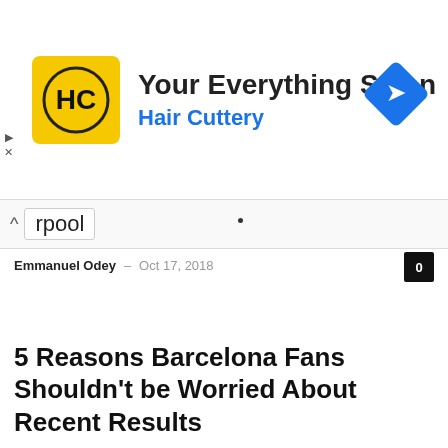[Figure (screenshot): Advertisement banner for Hair Cuttery salon with yellow HC logo, text 'Your Everything Salon' and 'Hair Cuttery' in blue, and a blue diamond navigation arrow icon on the right]
rpool
Emmanuel Odey – Oct 17, 2018
5 Reasons Barcelona Fans Shouldn't be Worried About Recent Results